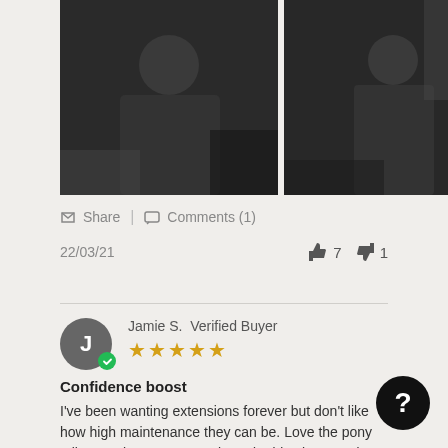[Figure (photo): Two photos of a woman wearing a black outfit, shown from different angles]
Share | Comments (1)
22/03/21   👍 7  👎 1
Jamie S. Verified Buyer ★★★★★
Confidence boost
I've been wanting extensions forever but don't like how high maintenance they can be. Love the pony tail extension easy to put in and add volume and length.
[Figure (photo): Photo of a person with floral hair accessories]